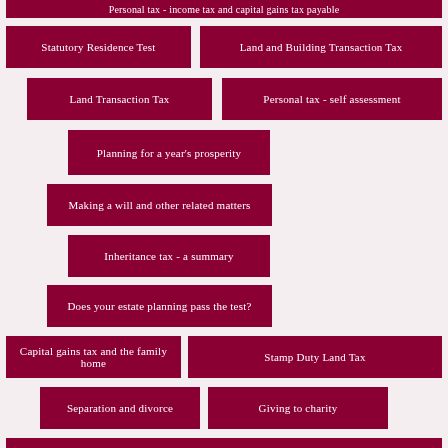[Figure (infographic): A menu/navigation infographic showing a list of tax and financial planning topics as dark red buttons on a light pink background. Topics include: Personal tax - income tax and capital gains tax payable, Statutory Residence Test, Land and Building Transaction Tax, Land Transaction Tax, Personal tax - self assessment, Planning for a year's prosperity, Making a will and other related matters, Inheritance tax - a summary, Does your estate planning pass the test?, Capital gains tax and the family home, Stamp Duty Land Tax, Separation and divorce, Giving to charity.]